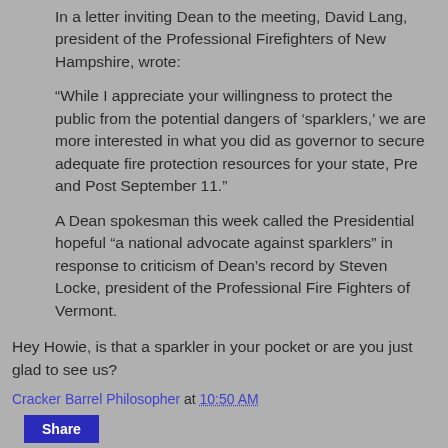In a letter inviting Dean to the meeting, David Lang, president of the Professional Firefighters of New Hampshire, wrote:
“While I appreciate your willingness to protect the public from the potential dangers of ‘sparklers,’ we are more interested in what you did as governor to secure adequate fire protection resources for your state, Pre and Post September 11.”
A Dean spokesman this week called the Presidential hopeful “a national advocate against sparklers” in response to criticism of Dean’s record by Steven Locke, president of the Professional Fire Fighters of Vermont.
Hey Howie, is that a sparkler in your pocket or are you just glad to see us?
Cracker Barrel Philosopher at 10:50 AM
Share